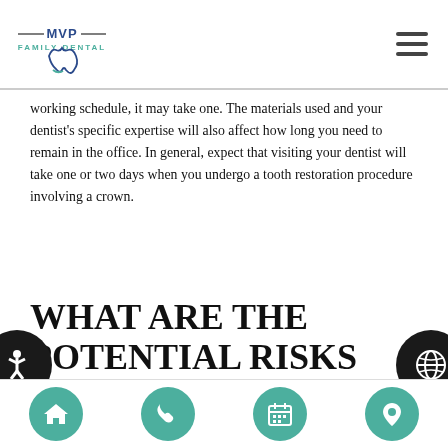MVP Family Dental — navigation header with logo and hamburger menu
working schedule, it may take one. The materials used and your dentist's specific expertise will also affect how long you need to remain in the office. In general, expect that visiting your dentist will take one or two days when you undergo a tooth restoration procedure involving a crown.
What are the potential risks associated with this procedure?
rare instances, patients may experience complications. Risk